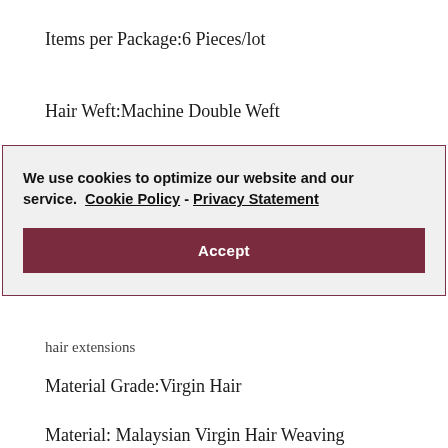Items per Package:6 Pieces/lot
Hair Weft:Machine Double Weft
We use cookies to optimize our website and our service.  Cookie Policy - Privacy Statement
Accept
hair extensions
Material Grade:Virgin Hair
Material: Malaysian Virgin Hair Weaving